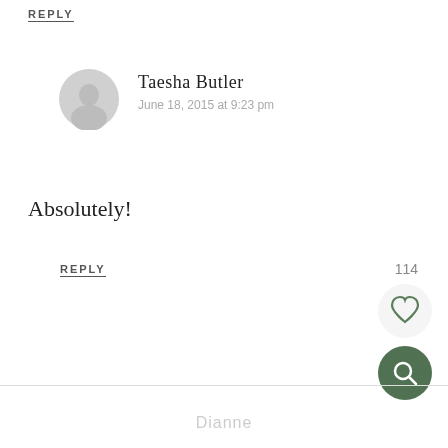REPLY
Taesha Butler
June 18, 2015 at 9:23 pm
Absolutely!
REPLY
114
[Figure (illustration): Heart (like) button circle and search button circle UI elements]
Dianne